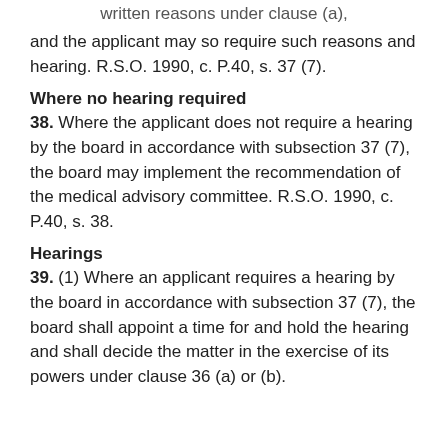written reasons under clause (a),
and the applicant may so require such reasons and hearing. R.S.O. 1990, c. P.40, s. 37 (7).
Where no hearing required
38. Where the applicant does not require a hearing by the board in accordance with subsection 37 (7), the board may implement the recommendation of the medical advisory committee. R.S.O. 1990, c. P.40, s. 38.
Hearings
39. (1) Where an applicant requires a hearing by the board in accordance with subsection 37 (7), the board shall appoint a time for and hold the hearing and shall decide the matter in the exercise of its powers under clause 36 (a) or (b).